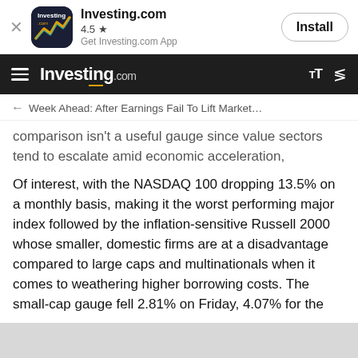[Figure (screenshot): Investing.com app banner with logo, 4.5 star rating, and Install button]
Investing.com — navigation bar with hamburger menu, Investing.com logo, font size and share icons
← Week Ahead: After Earnings Fail To Lift Market…
comparison isn't a useful gauge since value sectors tend to escalate amid economic acceleration, siphoning investments away from growth shares.
Of interest, with the NASDAQ 100 dropping 13.5% on a monthly basis, making it the worst performing major index followed by the inflation-sensitive Russell 2000 whose smaller, domestic firms are at a disadvantage compared to large caps and multinationals when it comes to weathering higher borrowing costs. The small-cap gauge fell 2.81% on Friday, 4.07% for the